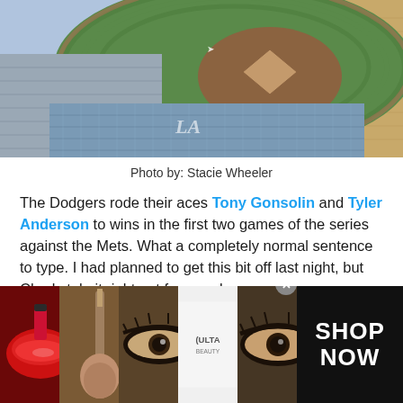[Figure (photo): Aerial view of a baseball stadium (Dodger Stadium) showing the field, diamond, and empty blue seats from above]
Photo by: Stacie Wheeler
The Dodgers rode their aces Tony Gonsolin and Tyler Anderson to wins in the first two games of the series against the Mets. What a completely normal sentence to type. I had planned to get this bit off last night, but Chad stole it right out from under me.
[Figure (screenshot): Tweet card showing Chad Moriyama's Twitter profile with avatar and Twitter bird logo]
[Figure (photo): Advertisement banner showing makeup/beauty products with ULTA branding and SHOP NOW text]